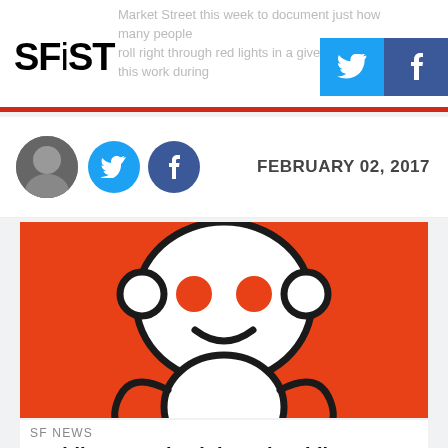SFiST
Market Street this week to document just how many people roll right through red lights in a given block during
FEBRUARY 02, 2017
[Figure (photo): Reddit alien mascot (Snoo) on orange background]
SF NEWS
Reddit Bans Alt-Right Subreddit Over Revealing Of Personal Information